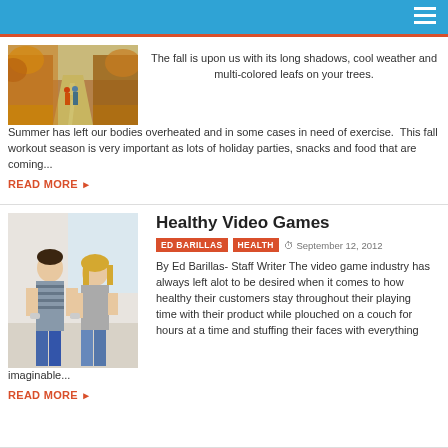[Figure (photo): Two people walking on a tree-lined path in autumn with fallen orange leaves]
The fall is upon us with its long shadows, cool weather and multi-colored leafs on your trees. Summer has left our bodies overheated and in some cases in need of exercise.  This fall workout season is very important as lots of holiday parties, snacks and food that are coming...
READ MORE ▶
Healthy Video Games
ED BARILLAS   HEALTH    September 12, 2012
[Figure (photo): A young man and woman playing a motion-based video game together, leaning forward with controllers]
By Ed Barillas- Staff Writer The video game industry has always left alot to be desired when it comes to how healthy their customers stay throughout their playing time with their product while plouched on a couch for hours at a time and stuffing their faces with everything imaginable...
READ MORE ▶